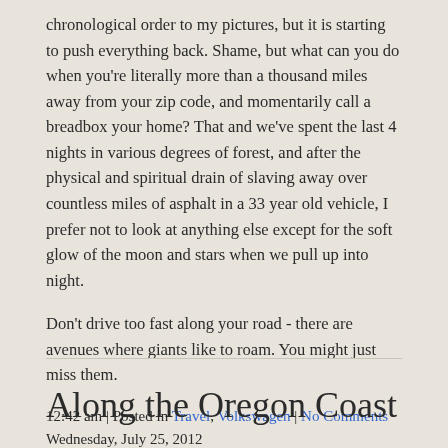chronological order to my pictures, but it is starting to push everything back. Shame, but what can you do when you're literally more than a thousand miles away from your zip code, and momentarily call a breadbox your home? That and we've spent the last 4 nights in various degrees of forest, and after the physical and spiritual drain of slaving away over countless miles of asphalt in a 33 year old vehicle, I prefer not to look at anything else except for the soft glow of the moon and stars when we pull up into night.
Don't drive too fast along your road - there are avenues where giants like to roam. You might just miss them.
12:42 am | Posted in Travel, Volkswagen | No Comments
Along the Oregon Coast
Wednesday, July 25, 2012